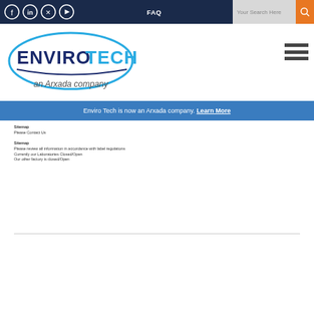Social icons, FAQ, Search bar, EnviroTech an Arxada company logo, hamburger menu
Enviro Tech is now an Arxada company. Learn More
Sitemap
Please Contact Us

Sitemap
Please review all information in accordance with label regulations
Currently our Laboratories Closed/Open
Our other factory is closed/Open